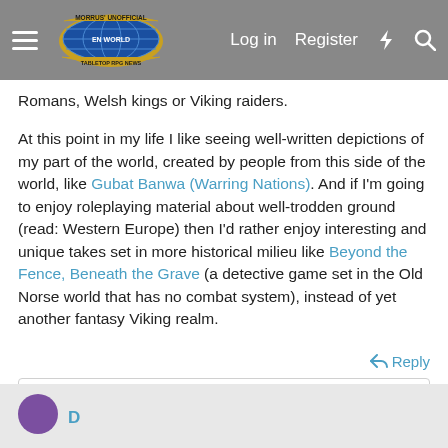Morrus' Unofficial Tabletop RPG News — Log in | Register
Romans, Welsh kings or Viking raiders.

At this point in my life I like seeing well-written depictions of my part of the world, created by people from this side of the world, like Gubat Banwa (Warring Nations). And if I'm going to enjoy roleplaying material about well-trodden ground (read: Western Europe) then I'd rather enjoy interesting and unique takes set in more historical milieu like Beyond the Fence, Beneath the Grave (a detective game set in the Old Norse world that has no combat system), instead of yet another fantasy Viking realm.
Reply
DrunkonDuty, ReshiRE, Randomthoughts and 8 others